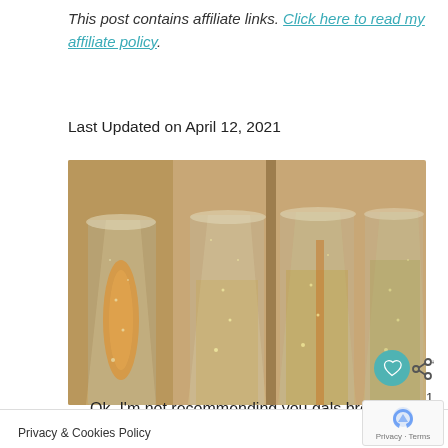This post contains affiliate links. Click here to read my affiliate policy.
Last Updated on April 12, 2021
[Figure (photo): Four tall champagne flute glasses filled with sparkling golden/amber beverages with bubbles rising, shot from close up against a warm blurred background.]
Ok, I'm not recommending you gals break out your keg stands or 72 oz shot glasses. I'm simply saying to drink more water. G... rself a big old jug like this